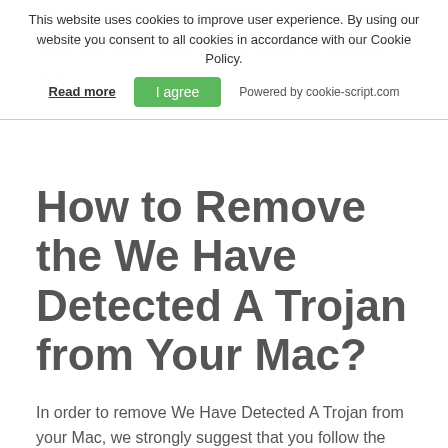Since the ads that could be displayed by We Have Detected A Trojan may redirect you to different places and download what...
[Figure (screenshot): Cookie consent banner overlay with text: 'This website uses cookies to improve user experience. By using our website you consent to all cookies in accordance with our Cookie Policy.' with 'Read more' link, 'I agree' green button, and 'Powered by cookie-script.com' text.]
How to Remove the We Have Detected A Trojan from Your Mac?
In order to remove We Have Detected A Trojan from your Mac, we strongly suggest that you follow the removal steps down below. They contain the necessary precautions that should be taken when it comes down to removing We Have Detected A Trojan fully. For the best removal, we strongly suggest that you download and run a scan of your Mac, using a particular malware removal software that can handle all files, created by We Have Detected A Trojan and make sure that it is full